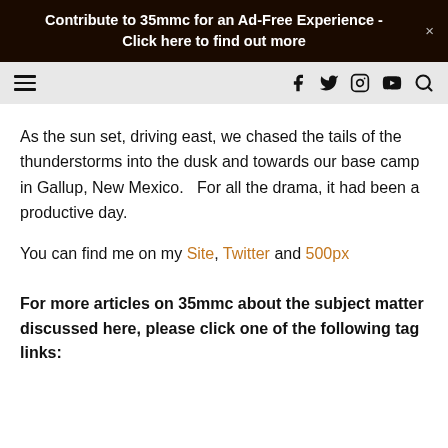Contribute to 35mmc for an Ad-Free Experience - Click here to find out more
[Figure (screenshot): Navigation bar with hamburger menu icon on left and social media icons (Facebook, Twitter, Instagram, YouTube) and search icon on right, on a light grey background]
As the sun set, driving east, we chased the tails of the thunderstorms into the dusk and towards our base camp in Gallup, New Mexico.   For all the drama, it had been a productive day.
You can find me on my Site, Twitter and 500px
For more articles on 35mmc about the subject matter discussed here, please click one of the following tag links: